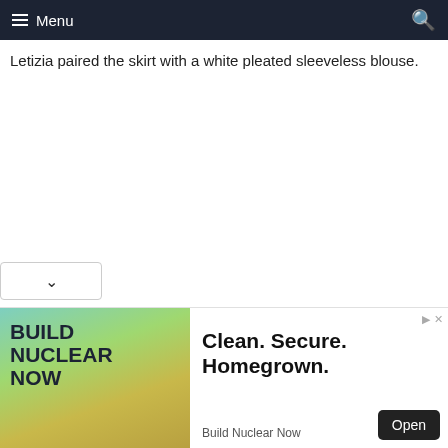Menu
Letizia paired the skirt with a white pleated sleeveless blouse.
[Figure (other): Advertisement banner: Build Nuclear Now. Clean. Secure. Homegrown. with Open button.]